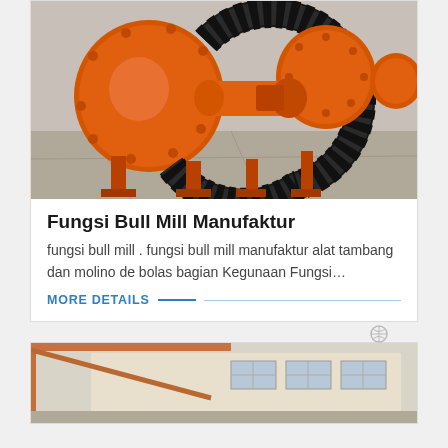[Figure (photo): Orange industrial ball mill grinding machine with large black gear ring, photographed outdoors on a concrete surface. Two cylindrical drum units visible with bolted flanges and connecting gear mechanism.]
Fungsi Bull Mill Manufaktur
fungsi bull mill . fungsi bull mill manufaktur alat tambang dan molino de bolas bagian Kegunaan Fungsi…
MORE DETAILS
[Figure (photo): Industrial factory building exterior with a metal structure/canopy in the foreground, light-colored walls and windows visible.]